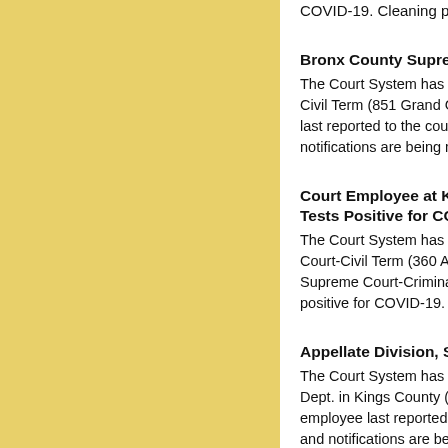COVID-19. Cleaning pro...
Bronx County Supreme...
The Court System has b... Civil Term (851 Grand Co... last reported to the court... notifications are being ma...
Court Employee at King... Tests Positive for COVI...
The Court System has b... Court-Civil Term (360 Ad... Supreme Court-Criminal ... positive for COVID-19. C...
Appellate Division, Sec...
The Court System has b... Dept. in Kings County (4... employee last reported t... and notifications are bein...